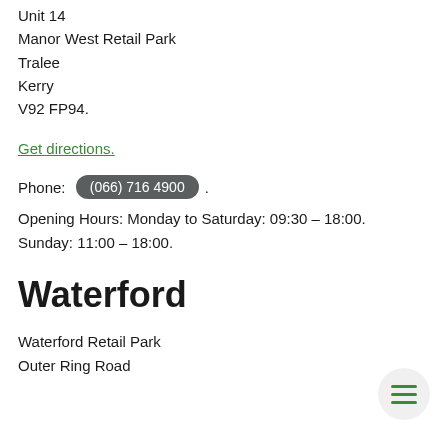Unit 14
Manor West Retail Park
Tralee
Kerry
V92 FP94.
Get directions.
Phone: (066) 716 4900.
Opening Hours: Monday to Saturday: 09:30 – 18:00. Sunday: 11:00 – 18:00.
Waterford
Waterford Retail Park
Outer Ring Road